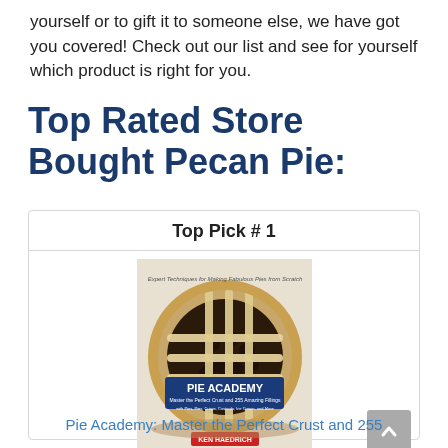yourself or to gift it to someone else, we have got you covered! Check out our list and see for yourself which product is right for you.
Top Rated Store Bought Pecan Pie:
| Top Pick # 1 |
| --- |
| [Pie Academy book cover image] |
| Pie Academy: Master the Perfect Crust and 255 |
[Figure (photo): Book cover of 'Pie Academy: Master the Perfect Crust and 255 Amazing Fillings' by Ken Haedrich, showing a lattice-topped berry pie]
Pie Academy: Master the Perfect Crust and 255